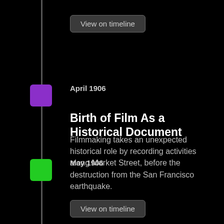[Figure (infographic): Timeline vertical line with purple and green square markers]
View on timeline
April 1906
Birth of Film As a Historical Document
Filmmaking takes an unexpected historical role by recording activities along Market Street, before the destruction from the San Francisco earthquake.
View on timeline
May 1906
Rational Structures of Consciousness in Cinema
With the awakening to films capacity as a historical document the striving toward greater realism became part of the evolution of the medium.